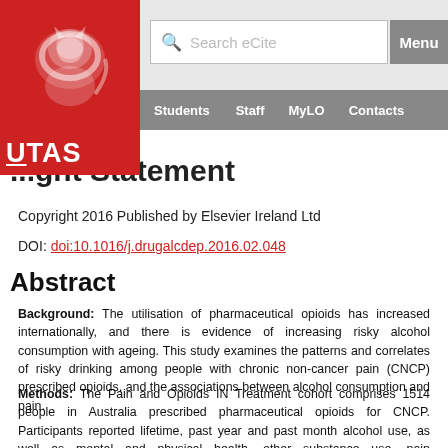[Figure (screenshot): UTAS (University of Tasmania) website header with red logo, search bar, Menu button, and navigation links: Students, Staff, MyLO, Contacts]
...ght Statement
Copyright 2016 Published by Elsevier Ireland Ltd
DOI: doi:10.1016/j.drugalcdep.2016.02.048
Abstract
Background: The utilisation of pharmaceutical opioids has increased internationally, and there is evidence of increasing risky alcohol consumption with ageing. This study examines the patterns and correlates of risky drinking among people with chronic non-cancer pain (CNCP) prescribed opioids, and the associations between alcohol consumption and pain.
Methods: The Pain and Opioids IN Treatment cohort comprises 1514 people in Australia prescribed pharmaceutical opioids for CNCP. Participants reported lifetime, past year and past month alcohol use, as well as mental and physical health, other substance use, pain characteristics, and current opioid dose.